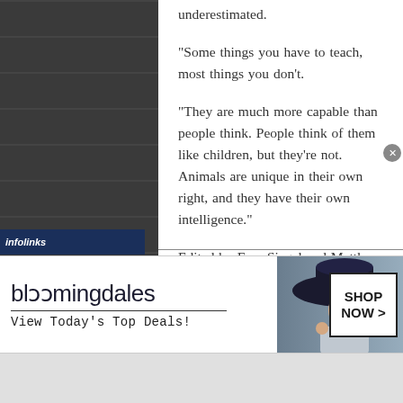underestimated.
“Some things you have to teach, most things you don’t.
“They are much more capable than people think. People think of them like children, but they’re not. Animals are unique in their own right, and they have their own intelligence.”
Edited by Fern Siegel and Matthew B. Hall
[Figure (screenshot): Bloomingdales advertisement banner with woman in large hat and Shop Now button]